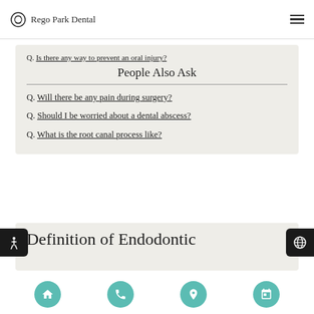Rego Park Dental
Q. Is there any way to prevent an oral injury?
People Also Ask
Q. Will there be any pain during surgery?
Q. Should I be worried about a dental abscess?
Q. What is the root canal process like?
Definition of Endodontic